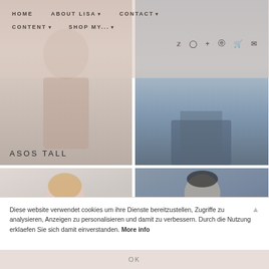HOME   ABOUT LISA ▾   CONTACT ▾   CONTENT ▾   SHOP MY... ▾
[Figure (photo): Fashion blog website screenshot showing navigation menu with HOME, ABOUT LISA, CONTACT, CONTENT, SHOP MY... links and social media icons. Below are fashion model photos including ASOS TALL label, a woman in pink coat, and a woman in black blazer with red skirt and black beret.]
ASOS TALL
Diese website verwendet cookies um ihre Dienste bereitzustellen, Zugriffe zu analysieren, Anzeigen zu personalisieren und damit zu verbessern. Durch die Nutzung erklaefen Sie sich damit einverstanden. More info
OK